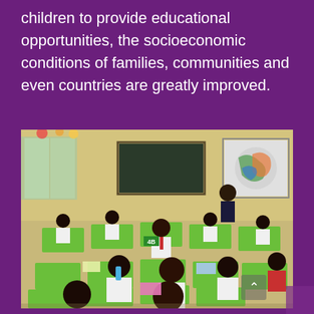children to provide educational opportunities, the socioeconomic conditions of families, communities and even countries are greatly improved.
[Figure (photo): A classroom full of young students in white school uniforms sitting at green desks, working on books and papers. A teacher stands at the front near a blackboard. Educational posters and decorations are visible on the walls.]